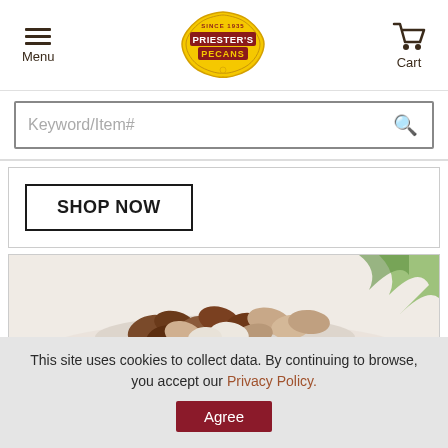[Figure (logo): Priester's Pecans logo badge in yellow and red]
Menu
Cart
Keyword/Item#
SHOP NOW
[Figure (photo): Bowl of mixed pecans — chocolate covered and plain, with green plant in background]
This site uses cookies to collect data. By continuing to browse, you accept our Privacy Policy.
Agree